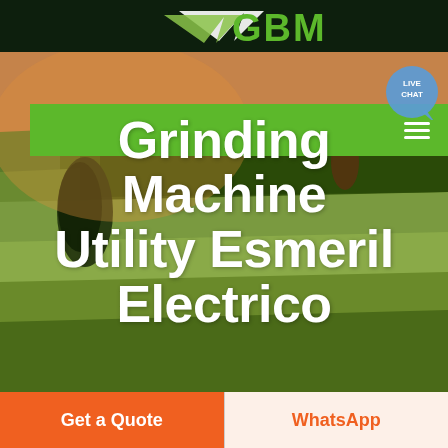GBM
[Figure (screenshot): Website screenshot showing GBM logo in dark green header, green navigation bar with hamburger menu and live chat bubble, aerial photo of agricultural fields as hero background, large white bold title text 'Grinding Machine Utility Esmeril Electrico', and two call-to-action buttons: orange 'Get a Quote' and cream 'WhatsApp']
Grinding Machine Utility Esmeril Electrico